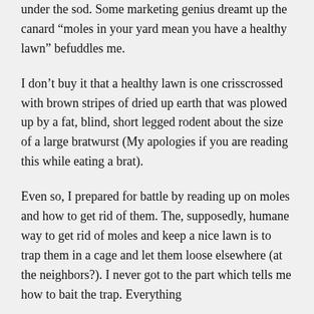under the sod. Some marketing genius dreamt up the canard “moles in your yard mean you have a healthy lawn” befuddles me.
I don’t buy it that a healthy lawn is one crisscrossed with brown stripes of dried up earth that was plowed up by a fat, blind, short legged rodent about the size of a large bratwurst (My apologies if you are reading this while eating a brat).
Even so, I prepared for battle by reading up on moles and how to get rid of them. The, supposedly, humane way to get rid of moles and keep a nice lawn is to trap them in a cage and let them loose elsewhere (at the neighbors?). I never got to the part which tells me how to bait the trap. Everything